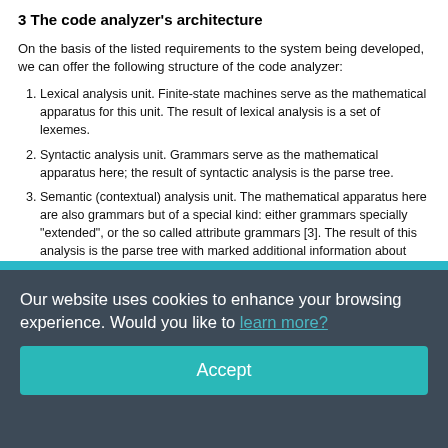3 The code analyzer's architecture
On the basis of the listed requirements to the system being developed, we can offer the following structure of the code analyzer:
Lexical analysis unit. Finite-state machines serve as the mathematical apparatus for this unit. The result of lexical analysis is a set of lexemes.
Syntactic analysis unit. Grammars serve as the mathematical apparatus here; the result of syntactic analysis is the parse tree.
Semantic (contextual) analysis unit. The mathematical apparatus here are also grammars but of a special kind: either grammars specially "extended", or the so called attribute grammars [3]. The result of this analysis is the parse tree with marked additional information about types (or the attributed parse tree).
Our website uses cookies to enhance your browsing experience. Would you like to learn more?
Accept